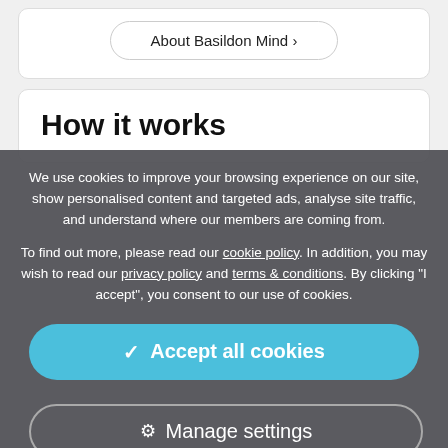About Basildon Mind >
How it works
We use cookies to improve your browsing experience on our site, show personalised content and targeted ads, analyse site traffic, and understand where our members are coming from.
To find out more, please read our cookie policy. In addition, you may wish to read our privacy policy and terms & conditions. By clicking "I accept", you consent to our use of cookies.
✓ Accept all cookies
⚙ Manage settings